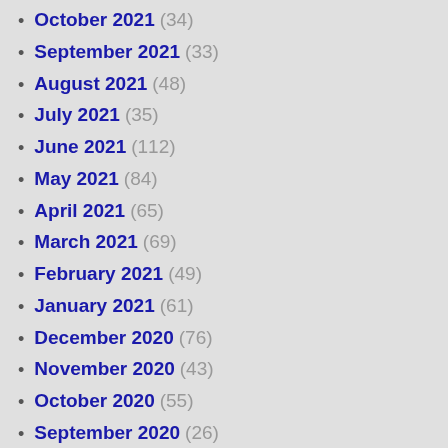October 2021 (34)
September 2021 (33)
August 2021 (48)
July 2021 (35)
June 2021 (112)
May 2021 (84)
April 2021 (65)
March 2021 (69)
February 2021 (49)
January 2021 (61)
December 2020 (76)
November 2020 (43)
October 2020 (55)
September 2020 (26)
August 2020 (39)
July 2020 (44)